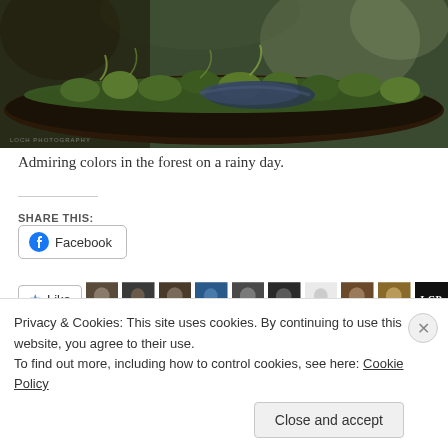[Figure (photo): Close-up macro photograph of a mossy log or branch in a forest on a rainy day, with green moss and bokeh background]
Admiring colors in the forest on a rainy day.
SHARE THIS:
Facebook
Like
Privacy & Cookies: This site uses cookies. By continuing to use this website, you agree to their use.
To find out more, including how to control cookies, see here: Cookie Policy
Close and accept